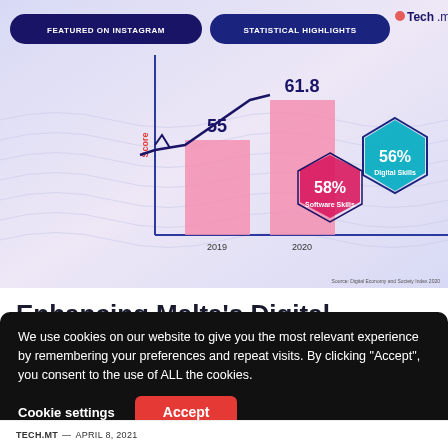[Figure (bar-chart): Statistical Highlights — Digital Economy and Society Index]
Enhancing Malta's Digital Competitiveness
We use cookies on our website to give you the most relevant experience by remembering your preferences and repeat visits. By clicking "Accept", you consent to the use of ALL the cookies.
TECH.MT — APRIL 8, 2021